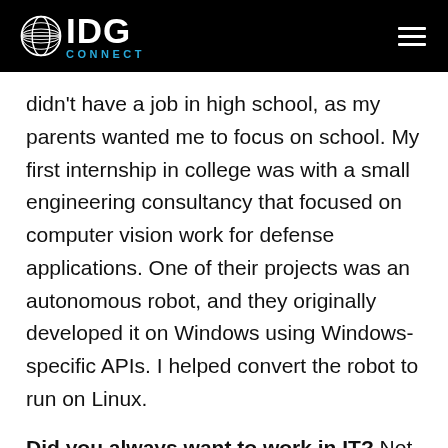IDG CONNECT
didn't have a job in high school, as my parents wanted me to focus on school. My first internship in college was with a small engineering consultancy that focused on computer vision work for defense applications. One of their projects was an autonomous robot, and they originally developed it on Windows using Windows-specific APIs. I helped convert the robot to run on Linux.
Did you always want to work in IT? Not IT specifically, but I've always enjoyed making things and learning how they work. I've always been fascinated by computers. Technology is currently the greatest force for change in our world —